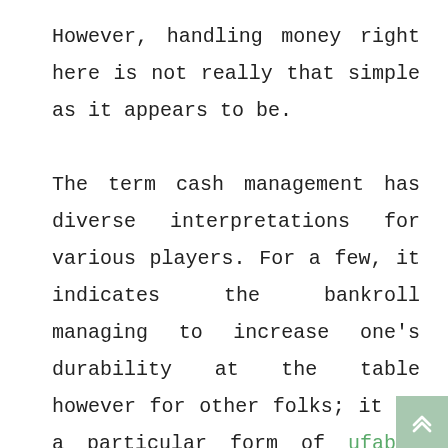However, handling money right here is not really that simple as it appears to be.

The term cash management has diverse interpretations for various players. For a few, it indicates the bankroll managing to increase one's durability at the table however for other folks; it is a particular form of ufabet 678 strategy which lessens the edge of property benefit. Many books and content articles for